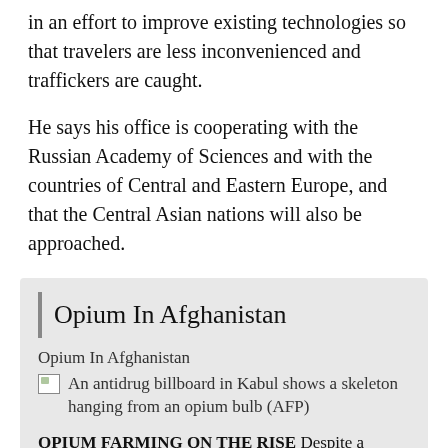in an effort to improve existing technologies so that travelers are less inconvenienced and traffickers are caught.
He says his office is cooperating with the Russian Academy of Sciences and with the countries of Central and Eastern Europe, and that the Central Asian nations will also be approached.
Opium In Afghanistan
Opium In Afghanistan
An antidrug billboard in Kabul shows a skeleton hanging from an opium bulb (AFP)
OPIUM FARMING ON THE RISE Despite a nationwide program by the Afghan government to eradicate opium-poppy fields and offer farmers alternative crops, international experts say that the 2006 opium